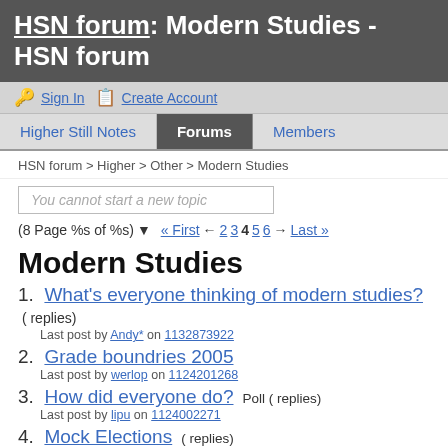HSN forum: Modern Studies - HSN forum
Sign In  Create Account
Higher Still Notes | Forums | Members
HSN forum > Higher > Other > Modern Studies
You cannot start a new topic
(8 Page %s of %s) ▼  « First ← 2 3 4 5 6 → Last »
Modern Studies
1. What's everyone thinking of modern studies? ( replies)
Last post by Andy* on 1132873922
2. Grade boundries 2005
Last post by werlop on 1124201268
3. How did everyone do? Poll ( replies)
Last post by lipu on 1124002271
4. Mock Elections ( replies)